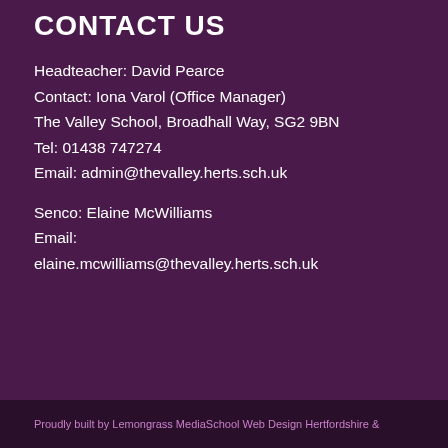CONTACT US
Headteacher: David Pearce
Contact: Iona Varol (Office Manager)
The Valley School, Broadhall Way, SG2 9BN
Tel: 01438 747274
Email: admin@thevalley.herts.sch.uk
Senco: Elaine McWilliams
Email:
elaine.mcwilliams@thevalley.herts.sch.uk
Proudly built by Lemongrass MediaSchool Web Design Hertfordshire &